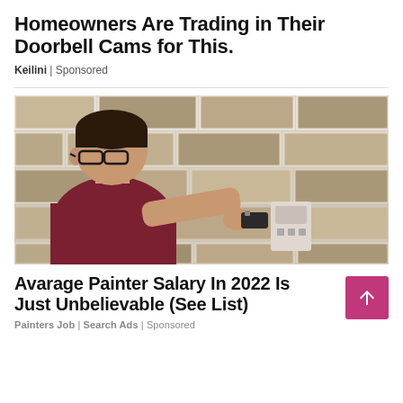Homeowners Are Trading in Their Doorbell Cams for This.
Keilini | Sponsored
[Figure (photo): A man wearing glasses and a dark red shirt using a tool on a concrete block wall, installing or examining something on the wall surface.]
Avarage Painter Salary In 2022 Is Just Unbelievable (See List)
Painters Job | Search Ads | Sponsored